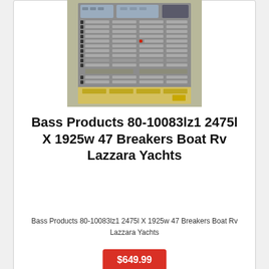[Figure (photo): Photo of a grey circuit breaker panel with multiple rows of switches and breakers, appears to be a marine/boat electrical distribution panel]
Bass Products 80-10083lz1 2475l X 1925w 47 Breakers Boat Rv Lazzara Yachts
Bass Products 80-10083lz1 2475l X 1925w 47 Breakers Boat Rv Lazzara Yachts
$649.99
[Figure (photo): Photo of a T-shaped antenna or radar mount bracket, dark colored top bar with silver/chrome stand on a black base]